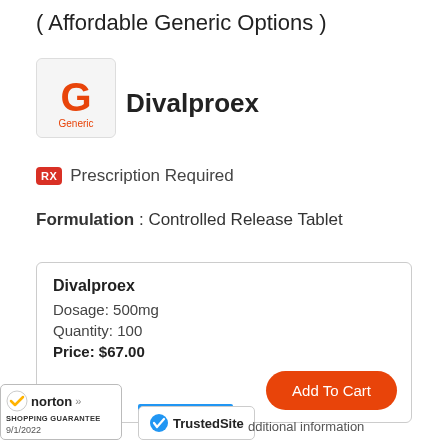( Affordable Generic Options )
[Figure (logo): Orange letter G with 'Generic' text below, on light gray background — generic drug logo badge]
Divalproex
RX  Prescription Required
Formulation : Controlled Release Tablet
| Divalproex |
| Dosage: 500mg |
| Quantity: 100 |
| Price: $67.00 |
[Figure (logo): Norton Shopping Guarantee badge, dated 9/1/2022]
[Figure (logo): TrustedSite badge with blue checkmark]
dditional information